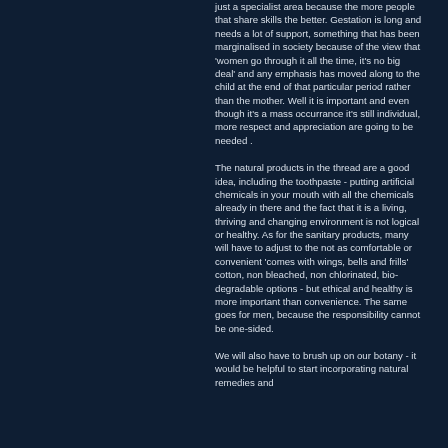just a specialist area because the more people that share skills the better. Gestation is long and needs a lot of support, something that has been marginalised in society because of the view that 'women go through it all the time, it's no big deal' and any emphasis has moved along to the child at the end of that particular period rather than the mother. Well it is important and even though it's a mass occurrance it's still individual, more respect and appreciation are going to be needed .
The natural products in the thread are a good idea, including the toothpaste - putting artificial chemicals in your mouth with all the chemicals already in there and the fact that it is a living, thriving and changing environment is not logical or healthy. As for the sanitary products, many will have to adjust to the not as comfortable or convenient 'comes with wings, bells and frills' cotton, non bleached, non chlorinated, bio-degradable options - but ethical and healthy is more important than convenience. The same goes for men, because the responsibility cannot be one-sided.
We will also have to brush up on our botany - it would be helpful to start incorporating natural remedies and